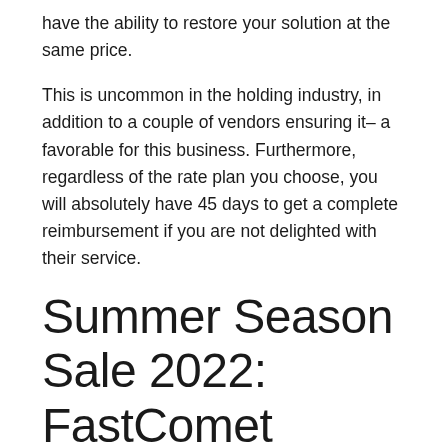have the ability to restore your solution at the same price.
This is uncommon in the holding industry, in addition to a couple of vendors ensuring it– a favorable for this business. Furthermore, regardless of the rate plan you choose, you will absolutely have 45 days to get a complete reimbursement if you are not delighted with their service.
Summer Season Sale 2022: FastComet Discount Promo Code Code: